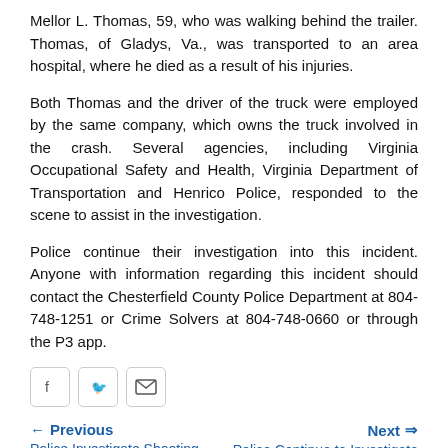Mellor L. Thomas, 59, who was walking behind the trailer. Thomas, of Gladys, Va., was transported to an area hospital, where he died as a result of his injuries.
Both Thomas and the driver of the truck were employed by the same company, which owns the truck involved in the crash. Several agencies, including Virginia Occupational Safety and Health, Virginia Department of Transportation and Henrico Police, responded to the scene to assist in the investigation.
Police continue their investigation into this incident. Anyone with information regarding this incident should contact the Chesterfield County Police Department at 804-748-1251 or Crime Solvers at 804-748-0660 or through the P3 app.
[Figure (other): Social sharing icons: Facebook, Twitter, Email]
← Previous  Police Investigate Shooting    Next ⇒  Police Continue to Investigate Shooting